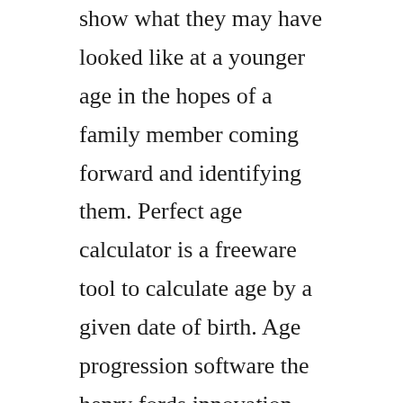show what they may have looked like at a younger age in the hopes of a family member coming forward and identifying them. Perfect age calculator is a freeware tool to calculate age by a given date of birth. Age progression software the henry fords innovation nation. Agingbooth is a funny application made for entertainment purposes only and does not.
Using what they call illuminationaware age progression, the method requires only one initial photograph as it automatically produces a series of age progressed outputs between 1 and 90...